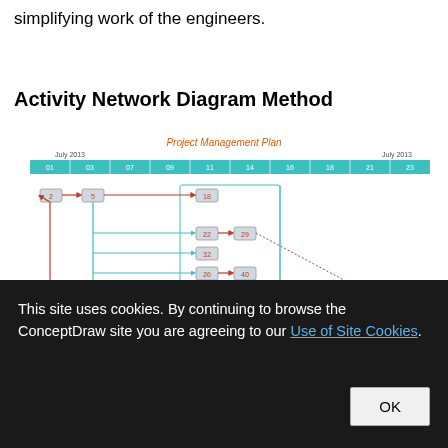simplifying work of the engineers.
Activity Network Diagram Method
[Figure (network-graph): Activity Network Diagram showing a Project Management Plan timeline from July 2013 to July 2013, with numbered task nodes connected by red and teal arrows, starting from a yellow diamond (Start 1 Jul 2013) and ending at a blue diamond (Finish 21 Jul 2013).]
This site uses cookies. By continuing to browse the ConceptDraw site you are agreeing to our Use of Site Cookies.